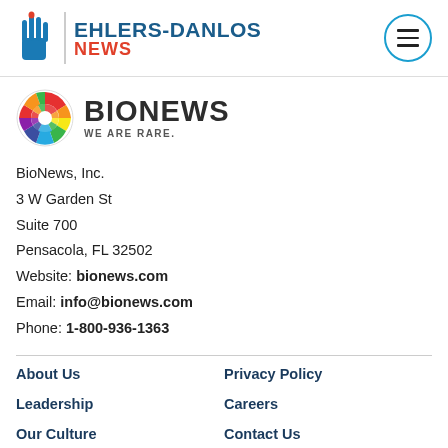EHLERS-DANLOS NEWS
[Figure (logo): BioNews logo with colorful globe icon and text 'BIONEWS WE ARE RARE.']
BioNews, Inc.
3 W Garden St
Suite 700
Pensacola, FL 32502
Website: bionews.com
Email: info@bionews.com
Phone: 1-800-936-1363
About Us
Privacy Policy
Leadership
Careers
Our Culture
Contact Us